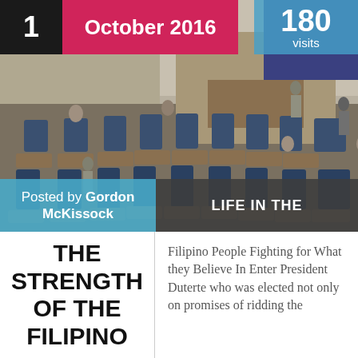[Figure (photo): Photograph of a Philippine legislative hall/congress with rows of seats and people seated, viewed from a wide angle. Overlaid with date badge, visit count, author credit, and category label.]
Posted by Gordon McKissock
LIFE IN THE
THE STRENGTH OF THE FILIPINO
Filipino People Fighting for What they Believe In Enter President Duterte who was elected not only on promises of ridding the